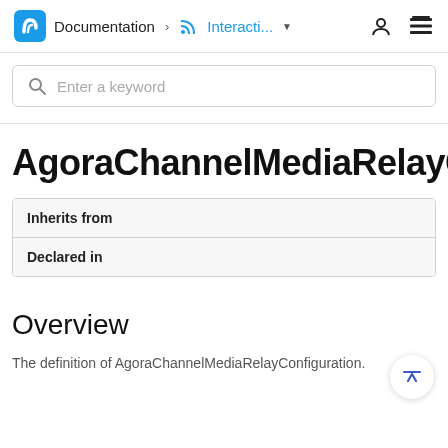Documentation > Interacti... (dropdown) [user icon] [stack icon]
Enter a keyword
AgoraChannelMediaRelayCon
|  |
| --- |
| Inherits from |
| Declared in |
Overview
The definition of AgoraChannelMediaRelayConfiguration.